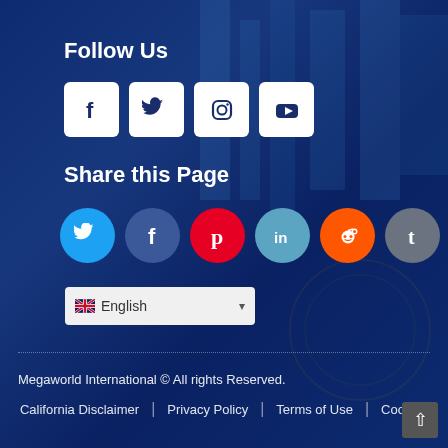Follow Us
[Figure (illustration): Row of social media follow buttons: Facebook, Twitter, Instagram, YouTube — white rounded square icons on dark blue background]
Share this Page
[Figure (illustration): Row of social media share buttons as colored circles: Twitter (blue), Facebook (dark blue), Pinterest (red), LinkedIn (light blue), Reddit (orange), Tumblr (gray)]
English (language selector dropdown)
Megaworld International © All rights Reserved.
California Disclaimer | Privacy Policy | Terms of Use | Cookies